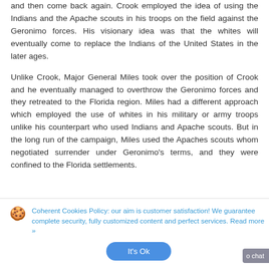and then come back again. Crook employed the idea of using the Indians and the Apache scouts in his troops on the field against the Geronimo forces. His visionary idea was that the whites will eventually come to replace the Indians of the United States in the later ages.
Unlike Crook, Major General Miles took over the position of Crook and he eventually managed to overthrow the Geronimo forces and they retreated to the Florida region. Miles had a different approach which employed the use of whites in his military or army troops unlike his counterpart who used Indians and Apache scouts. But in the long run of the campaign, Miles used the Apaches scouts whom negotiated surrender under Geronimo's terms, and they were confined to the Florida settlements.
Coherent Cookies Policy: our aim is customer satisfaction! We guarantee complete security, fully customized content and perfect services. Read more »